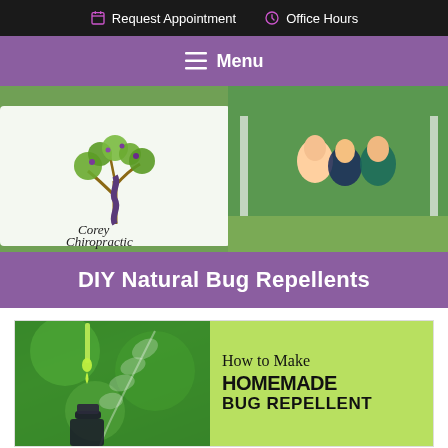Request Appointment   Office Hours
Menu
[Figure (photo): Hero image split: left side shows Corey Chiropractic logo with decorative tree, right side shows three women standing outdoors near a gazebo/garden area]
DIY Natural Bug Repellents
[Figure (infographic): Article thumbnail showing left side with green background, dropper bottle with essential oil, and leaf motif; right side on lime green background reads 'How to Make HOMEMADE BUG REPELLENT']